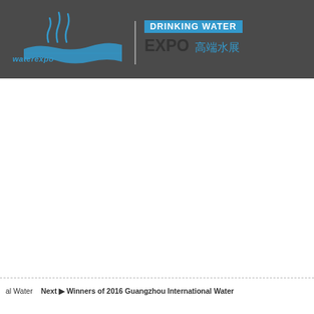[Figure (logo): Waterexpo Drinking Water Expo logo with steam/water wave graphic, blue text, on dark gray header bar. Shows 'DRINKING WATER' in blue box, 'EXPO 高端水展' below, 'waterexpo' brand name.]
al Water   Next ▶ Winners of 2016 Guangzhou International Water